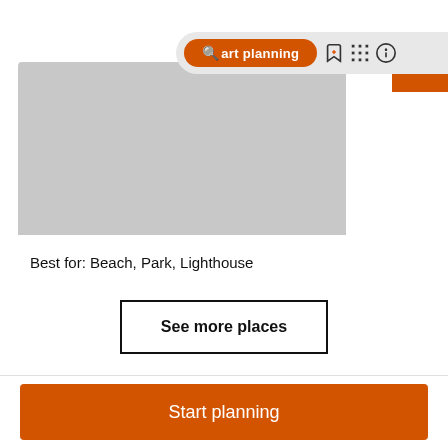[Figure (screenshot): Navigation bar with orange 'Start planning' pill button, search icon, bookmark icon, grid icon, and help icon on a light gray rounded bar background]
[Figure (photo): Gray placeholder image representing a beach or park location photo]
Best for: Beach, Park, Lighthouse
See more places
Start planning